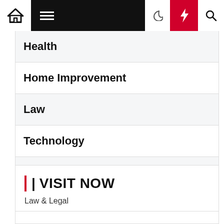[Figure (screenshot): Navigation bar with home icon, hamburger menu on black background, moon icon, red lightning bolt icon, and search icon]
Health
Home Improvement
Law
Technology
Travel
| | VISIT NOW
Law & Legal